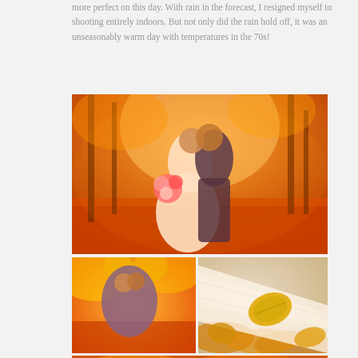more perfect on this day. With rain in the forecast, I resigned myself to shooting entirely indoors. But not only did the rain hold off, it was an unseasonably warm day with temperatures in the 70s!
[Figure (photo): Wedding couple kissing outdoors in autumn park with warm orange/golden light, fallen leaves on ground, bride in white dress holding colorful bouquet, groom in dark suit]
[Figure (photo): Wedding couple embracing and kissing outdoors with yellow autumn foliage in background, warm orange tones]
[Figure (photo): Close-up of white lace bridal veil with a yellow autumn leaf resting on it, surrounded by fallen leaves]
[Figure (photo): Partial view of another wedding photo at the bottom, autumn theme]